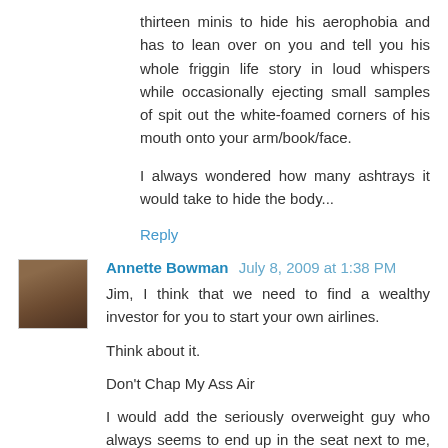thirteen minis to hide his aerophobia and has to lean over on you and tell you his whole friggin life story in loud whispers while occasionally ejecting small samples of spit out the white-foamed corners of his mouth onto your arm/book/face.
I always wondered how many ashtrays it would take to hide the body...
Reply
[Figure (photo): Small avatar photo of a person with dark hair against a warm-toned background]
Annette Bowman July 8, 2009 at 1:38 PM
Jim, I think that we need to find a wealthy investor for you to start your own airlines.

Think about it.

Don't Chap My Ass Air

I would add the seriously overweight guy who always seems to end up in the seat next to me, falls asleep, and